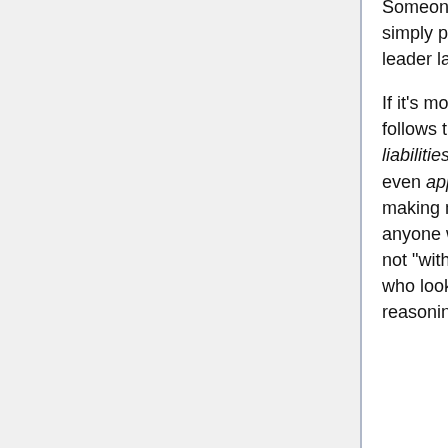Someone who dominates someone else through a show of force is simply practicing skills they will need in order to become a valuable leader later in life.
If it's more important to work as a group than as individuals, then it follows that individuals who don't act in concert with the group are liabilities to the group. It therefore makes sense to criticize those who even appear to stand out from the group, as this means they are not making much effort to work with the group -- to be "team players". Thus anyone who violates (for example) the corporate dress code is clearly not "with the program", and is to be viewed with great suspicion. People who look different, for whatever reason, are subject to the same reasoning -- even if they didn't choose to look different, the